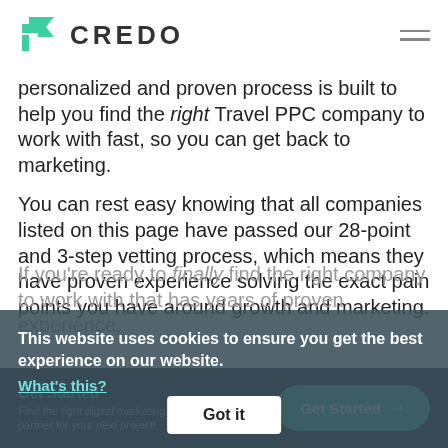CREDO
personalized and proven process is built to help you find the right Travel PPC company to work with fast, so you can get back to marketing.
You can rest easy knowing that all companies listed on this page have passed our 28-point and 3-step vetting process, which means they have proven experience solving the exact pain points you have around growth and marketing.
If you're ready to finally find the right company to work with that has years of proven experience,
This website uses cookies to ensure you get the best experience on our website. What's this?
Got it
Get Started
Find the right digital marketing partner for your next project!